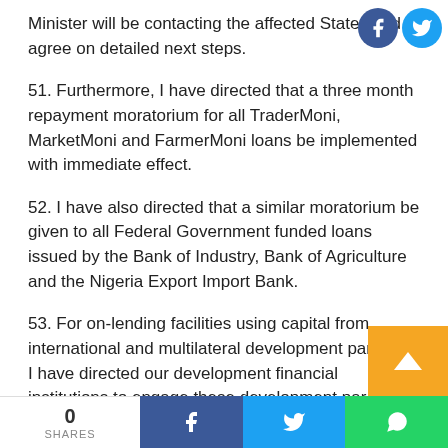Minister will be contacting the affected States and agree on detailed next steps.
51. Furthermore, I have directed that a three month repayment moratorium for all TraderMoni, MarketMoni and FarmerMoni loans be implemented with immediate effect.
52. I have also directed that a similar moratorium be given to all Federal Government funded loans issued by the Bank of Industry, Bank of Agriculture and the Nigeria Export Import Bank.
53. For on-lending facilities using capital from international and multilateral development partners, I have directed our development financial institutions to engage these development par...
[Figure (other): Social media share icons (Facebook and Twitter) in top right corner]
[Figure (other): Bottom share bar with count (0), Facebook share, Twitter share, WhatsApp share buttons, and scroll-to-top orange button]